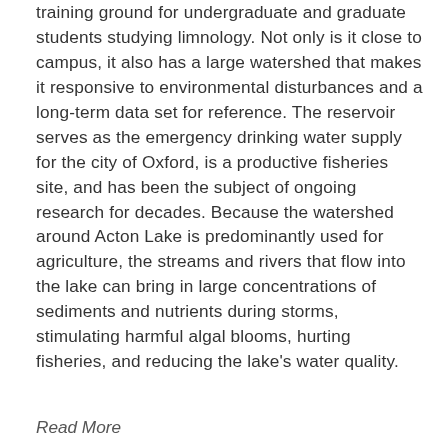training ground for undergraduate and graduate students studying limnology. Not only is it close to campus, it also has a large watershed that makes it responsive to environmental disturbances and a long-term data set for reference. The reservoir serves as the emergency drinking water supply for the city of Oxford, is a productive fisheries site, and has been the subject of ongoing research for decades. Because the watershed around Acton Lake is predominantly used for agriculture, the streams and rivers that flow into the lake can bring in large concentrations of sediments and nutrients during storms, stimulating harmful algal blooms, hurting fisheries, and reducing the lake's water quality.
Read More